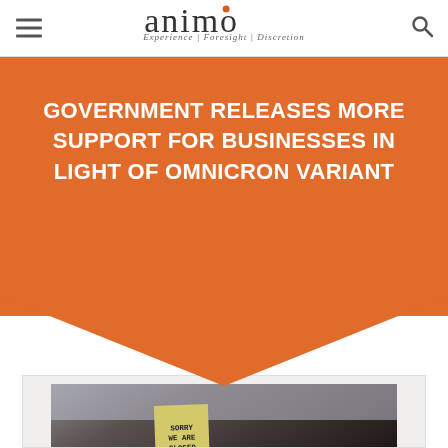animo — Experience | Foresight | Discretion
GOVERNMENT RELEASES MORE SUPPORT FOR BUSINESSES IN LIGHT OF OMNICRON VARIANT
[Figure (photo): A hand holding a sticky note sign on a dark door that reads 'Sorry We Are Closed']